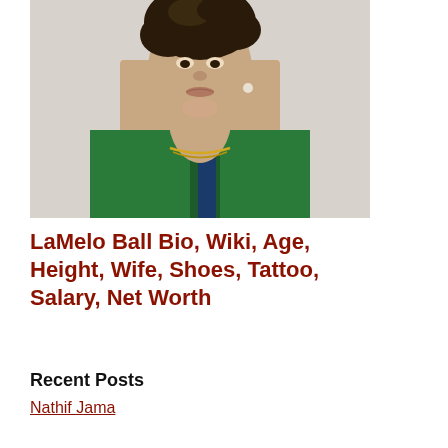[Figure (photo): Close-up portrait of a young man with curly hair wearing a green jersey, gold chain necklace, and a pearl earring, photographed from slightly below against a light background.]
LaMelo Ball Bio, Wiki, Age, Height, Wife, Shoes, Tattoo, Salary, Net Worth
Recent Posts
Nathif Jama